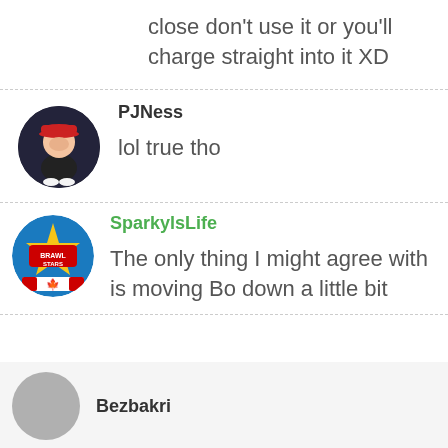close don't use it or you'll charge straight into it XD
[Figure (illustration): Avatar of PJNess: a cartoon figurine wearing a red cap and black outfit]
PJNess

lol true tho
[Figure (illustration): Avatar of SparkylsLife: Brawl Stars logo with Canadian flag]
SparkylsLife

The only thing I might agree with is moving Bo down a little bit
Bezbakri